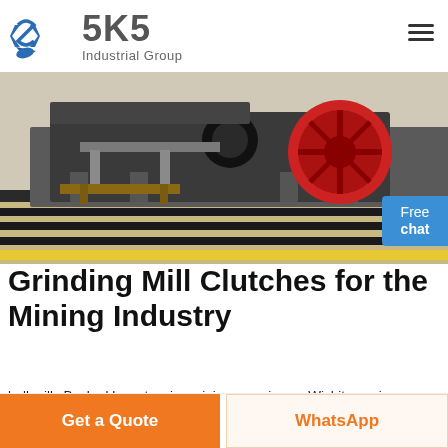SKS Industrial Group
[Figure (photo): Industrial grinding mill machinery with red wheel/flywheel in a factory/warehouse setting, viewed from ground level with yellow safety stripe on floor]
Grinding Mill Clutches for the Mining Industry
ball mills Backed by extensive mining experience, Wichita engineers utilize the latest , the mill's pinion shaft drive ring gear , and inching during routine.